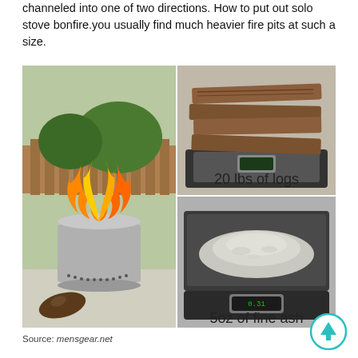channeled into one of two directions. How to put out solo stove bonfire.you usually find much heavier fire pits at such a size.
[Figure (photo): Composite image of a solo stove fire pit with large flames burning on the left, and two photos on the right: top shows 20 lbs of logs stacked on a digital scale, bottom shows 5oz of fine ash on a digital scale.]
Source: mensgear.net